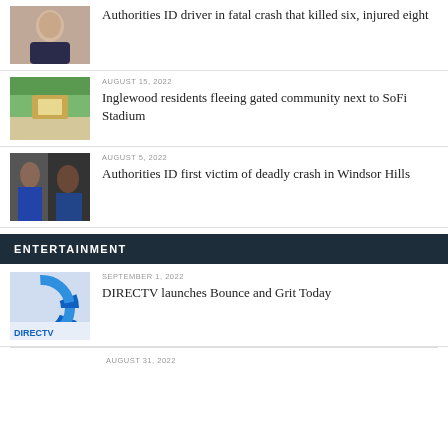[Figure (photo): Portrait photo of a woman]
Authorities ID driver in fatal crash that killed six, injured eight
[Figure (photo): Photo of a gated community sign with trees]
AUGUST 15, 2022
Inglewood residents fleeing gated community next to SoFi Stadium
[Figure (photo): Photo of two people outdoors]
AUGUST 5, 2022
Authorities ID first victim of deadly crash in Windsor Hills
ENTERTAINMENT
[Figure (photo): Photo of a DIRECTV dish/logo]
SEPTEMBER 1, 2022
DIRECTV launches Bounce and Grit Today
AUGUST 31, 2022